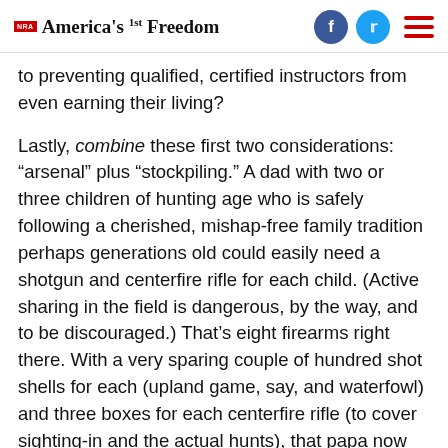NRA America's 1st Freedom
to preventing qualified, certified instructors from even earning their living?
Lastly, combine these first two considerations: “arsenal” plus “stockpiling.” A dad with two or three children of hunting age who is safely following a cherished, mishap-free family tradition perhaps generations old could easily need a shotgun and centerfire rifle for each child. (Active sharing in the field is dangerous, by the way, and to be discouraged.) That’s eight firearms right there. With a very sparing couple of hundred shot shells for each (upland game, say, and waterfowl) and three boxes for each centerfire rifle (to cover sighting-in and the actual hunts), that papa now needs well over 1,000